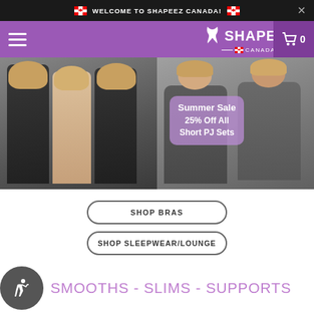WELCOME TO SHAPEEZ CANADA!
[Figure (screenshot): Shapeez Canada navigation bar with purple background, hamburger menu, Shapeez Canada logo, and shopping cart icon showing 0 items]
[Figure (photo): Hero banner showing two photos side by side: left photo shows three women wearing shapewear camisoles in black and nude colors; right photo shows two women in grey loungewear/pajama sets with Summer Sale 25% Off All Short PJ Sets badge overlay]
Summer Sale
25% Off All
Short PJ Sets
SHOP BRAS
SHOP SLEEPWEAR/LOUNGE
SMOOTHS - SLIMS - SUPPORTS
[Figure (photo): Bottom strip showing partial image of women, cut off at bottom of page]